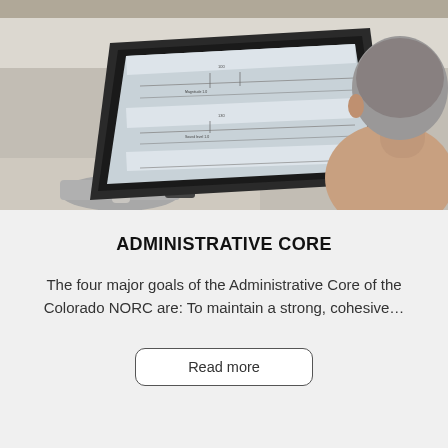[Figure (photo): A person viewed from behind looking at a large computer monitor displaying engineering or plumbing schematic drawings. A sink is visible in the lower left corner.]
ADMINISTRATIVE CORE
The four major goals of the Administrative Core of the Colorado NORC are: To maintain a strong, cohesive…
Read more